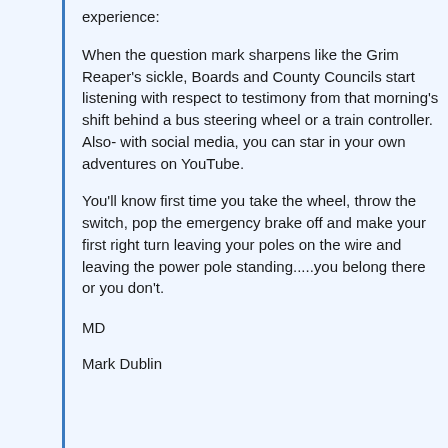experience:
When the question mark sharpens like the Grim Reaper's sickle, Boards and County Councils start listening with respect to testimony from that morning's shift behind a bus steering wheel or a train controller. Also- with social media, you can star in your own adventures on YouTube.
You'll know first time you take the wheel, throw the switch, pop the emergency brake off and make your first right turn leaving your poles on the wire and leaving the power pole standing.....you belong there or you don't.
MD
Mark Dublin